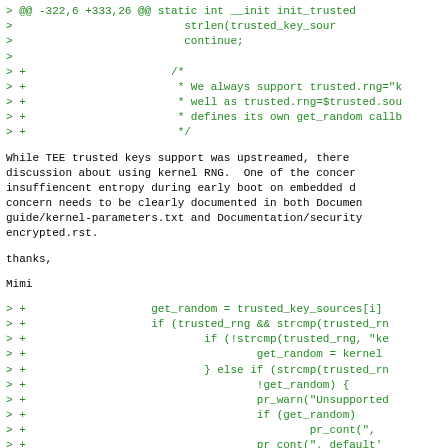[Figure (screenshot): Code diff snippet showing lines with > and > + markers in green monospace font, displaying C code fragments including strlen(trusted_key_sou..., continue;, a comment block about trusted.rng support, and closing */]
While TEE trusted keys support was upstreamed, there
discussion about using kernel RNG.  One of the conce
insuffiencent entropy during early boot on embedded 
concern needs to be clearly documented in both Docume
guide/kernel-parameters.txt and Documentation/securi
encrypted.rst.
thanks,
Mimi
[Figure (screenshot): Code diff snippet showing lines with > + markers in green monospace font, displaying C code fragments including get_random = trusted_key_sources[i..., if (trusted_rng && strcmp..., if (!strcmp(trusted_rng, ..., get_random = kerne..., } else if (strcmp(trusted_..., !get_random) {, pr_warn(Unsupporte..., if (get_random), pr_cont(',, pr_cont(', default..., return -EINVAL;]